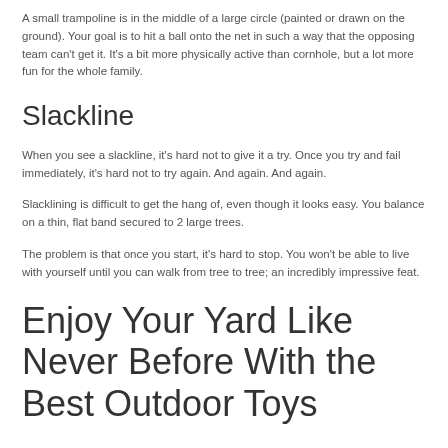A small trampoline is in the middle of a large circle (painted or drawn on the ground). Your goal is to hit a ball onto the net in such a way that the opposing team can't get it. It's a bit more physically active than cornhole, but a lot more fun for the whole family.
Slackline
When you see a slackline, it's hard not to give it a try. Once you try and fail immediately, it's hard not to try again. And again. And again.
Slacklining is difficult to get the hang of, even though it looks easy. You balance on a thin, flat band secured to 2 large trees.
The problem is that once you start, it's hard to stop. You won't be able to live with yourself until you can walk from tree to tree; an incredibly impressive feat.
Enjoy Your Yard Like Never Before With the Best Outdoor Toys